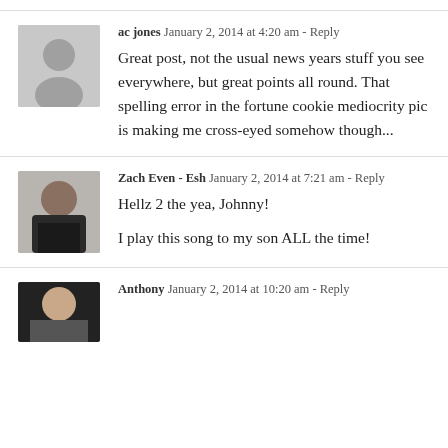ac jones  January 2, 2014 at 4:20 am - Reply
Great post, not the usual news years stuff you see everywhere, but great points all round. That spelling error in the fortune cookie mediocrity pic is making me cross-eyed somehow though...
Zach Even - Esh  January 2, 2014 at 7:21 am - Reply
Hellz 2 the yea, Johnny!

I play this song to my son ALL the time!
Anthony  January 2, 2014 at 10:20 am - Reply